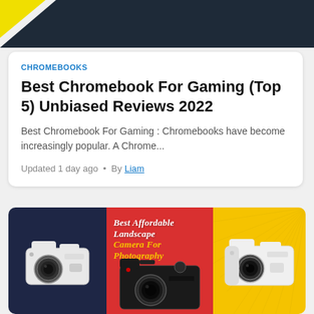[Figure (illustration): Dark navy banner with yellow and white triangular corner accent]
CHROMEBOOKS
Best Chromebook For Gaming (Top 5) Unbiased Reviews 2022
Best Chromebook For Gaming : Chromebooks have become increasingly popular. A Chrome...
Updated 1 day ago • By Liam
[Figure (illustration): Three-panel promotional image for Best Affordable Landscape Camera For Photography. Left panel: navy blue background with white Kodak camera. Center panel: red background with black Sony camera and white italic title text. Right panel: yellow background with sunburst pattern and white Kodak camera.]